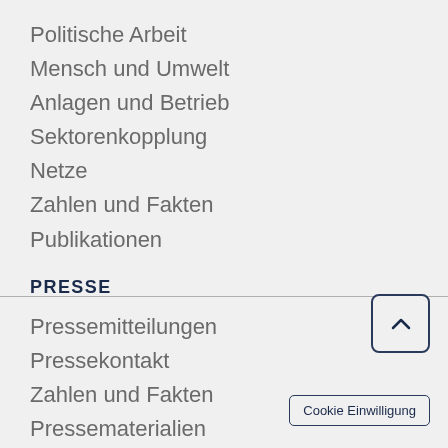Politische Arbeit
Mensch und Umwelt
Anlagen und Betrieb
Sektorenkopplung
Netze
Zahlen und Fakten
Publikationen
PRESSE
Pressemitteilungen
Pressekontakt
Zahlen und Fakten
Pressematerialien
neue energie
Aktiv in Berlin